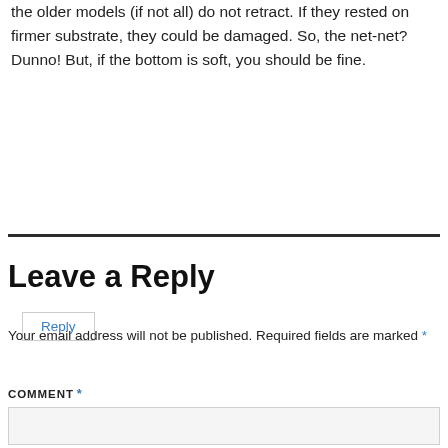the older models (if not all) do not retract. If they rested on firmer substrate, they could be damaged. So, the net-net? Dunno! But, if the bottom is soft, you should be fine.
Reply
Leave a Reply
Your email address will not be published. Required fields are marked *
COMMENT *